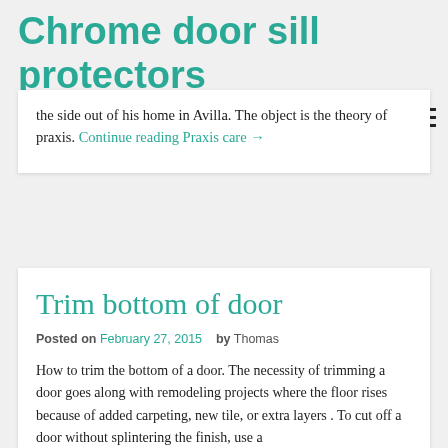Chrome door sill protectors
the side out of his home in Avilla. The object is the theory of praxis. Continue reading Praxis care →
Trim bottom of door
Posted on February 27, 2015  by Thomas
How to trim the bottom of a door. The necessity of trimming a door goes along with remodeling projects where the floor rises because of added carpeting, new tile, or extra layers . To cut off a door without splintering the finish, use a